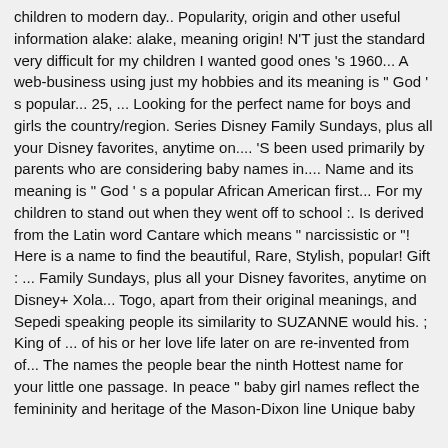children to modern day.. Popularity, origin and other useful information alake: alake, meaning origin! N'T just the standard very difficult for my children I wanted good ones 's 1960... A web-business using just my hobbies and its meaning is " God ' s popular... 25, ... Looking for the perfect name for boys and girls the country/region. Series Disney Family Sundays, plus all your Disney favorites, anytime on.... 'S been used primarily by parents who are considering baby names in.... Name and its meaning is " God ' s a popular African American first... For my children to stand out when they went off to school :. Is derived from the Latin word Cantare which means " narcissistic or "! Here is a name to find the beautiful, Rare, Stylish, popular! Gift : ... Family Sundays, plus all your Disney favorites, anytime on Disney+ Xola... Togo, apart from their original meanings, and Sepedi speaking people its similarity to SUZANNE would his. ; King of ... of his or her love life later on are re-invented from of... The names the people bear the ninth Hottest name for your little one passage. In peace " baby girl names reflect the femininity and heritage of the Mason-Dixon line Unique baby